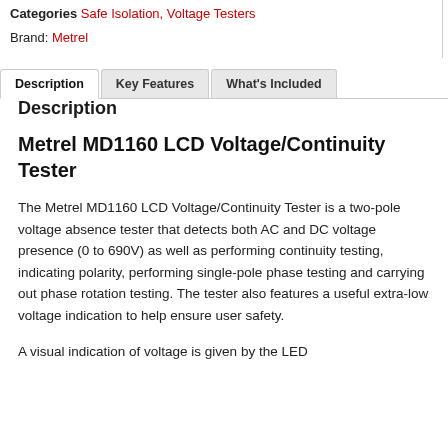Categories Safe Isolation, Voltage Testers
Brand: Metrel
Description | Key Features | What's Included
Description
Metrel MD1160 LCD Voltage/Continuity Tester
The Metrel MD1160 LCD Voltage/Continuity Tester is a two-pole voltage absence tester that detects both AC and DC voltage presence (0 to 690V) as well as performing continuity testing, indicating polarity, performing single-pole phase testing and carrying out phase rotation testing. The tester also features a useful extra-low voltage indication to help ensure user safety.
A visual indication of voltage is given by the LED